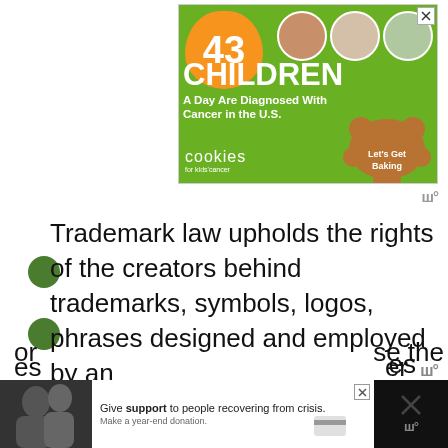[Figure (infographic): Green advertisement banner: '43 CHILDREN A Day Are Diagnosed With Cancer in the U.S.' with cookies for kids' cancer logo and 'Let's Get Baking' text. Shows three circular photos of children.]
Trademark law upholds the rights of the creators behind trademarks, symbols, logos, phrases designed and employed by an organization to establish content to use the
[Figure (infographic): Bottom advertisement bar: Give support to people recovering from crisis. Make a year-end donation. Shows a photo of two people embracing.]